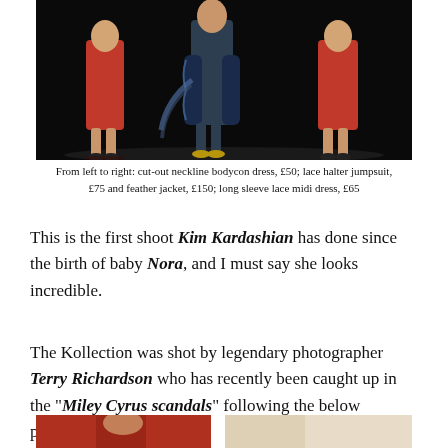[Figure (photo): Three female figures in fashion clothing against a black background. Left and right figures wear red dresses, center figure wears a dark jumpsuit and feather jacket.]
From left to right: cut-out neckline bodycon dress, £50; lace halter jumpsuit, £75 and feather jacket, £150; long sleeve lace midi dress, £65
This is the first shoot Kim Kardashian has done since the birth of baby Nora, and I must say she looks incredible.
The Kollection was shot by legendary photographer Terry Richardson who has recently been caught up in the "Miley Cyrus scandals" following the below photos:-
[Figure (photo): Two partial photos side by side at the bottom of the page, cut off. Left shows a person in red, right shows a lighter background scene.]